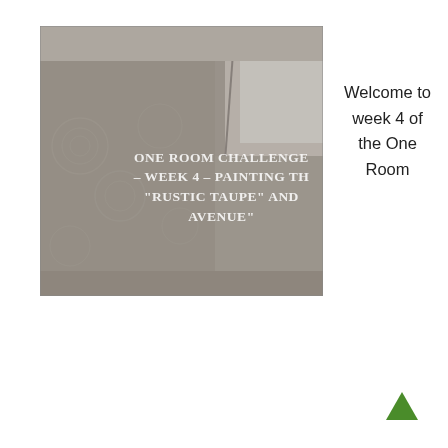[Figure (photo): Interior corner of a room with taupe/gray painted walls showing textured wallpaper or embossed pattern on the left wall, a window visible in the upper right, with white overlay text reading ONE ROOM CHALLENGE – WEEK 4 – PAINTING TH... "RUSTIC TAUPE" AND... AVENUE"]
Welcome to week 4 of the One Room